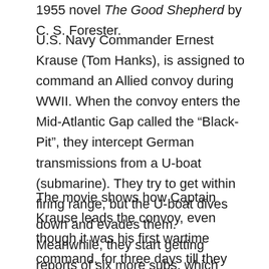1955 novel The Good Shepherd by C. S. Forester.
U.S. Navy Commander Ernest Krause (Tom Hanks), is assigned to command an Allied convoy during WWII. When the convoy enters the Mid-Atlantic Gap called the “Black-Pit”, they intercept German transmissions from a U-boat (submarine). They try to get within firing range, but the U-boat dives down and evades them. Meanwhile, they start getting reports of six more subs, which they suspect, were waiting for nightfall to start the attack.
The movie shows how Captain Krause leads the convoy, even though it was his first wartime command, for three days till they can make contact and seek air support.